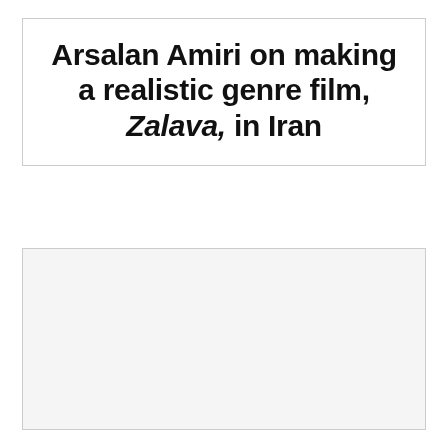Arsalan Amiri on making a realistic genre film, Zalava, in Iran
[Figure (photo): A photo placeholder box, largely white/light gray, with partial text visible at the bottom edge of the frame.]